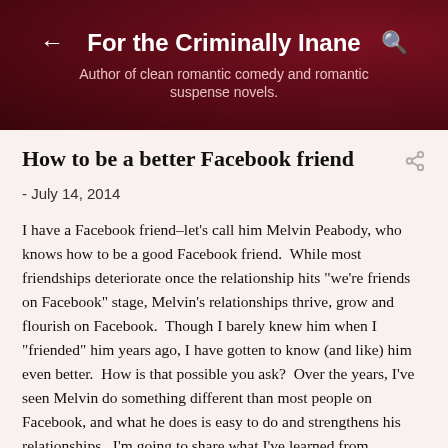For the Criminally Inane
Author of clean romantic comedy and romantic suspense novels.
How to be a better Facebook friend
- July 14, 2014
I have a Facebook friend–let's call him Melvin Peabody, who knows how to be a good Facebook friend.  While most friendships deteriorate once the relationship hits "we're friends on Facebook" stage, Melvin's relationships thrive, grow and flourish on Facebook.  Though I barely knew him when I "friended" him years ago, I have gotten to know (and like) him even better.  How is that possible you ask?  Over the years, I've seen Melvin do something different than most people on Facebook, and what he does is easy to do and strengthens his relationships.  I'm going to share what I've learned from